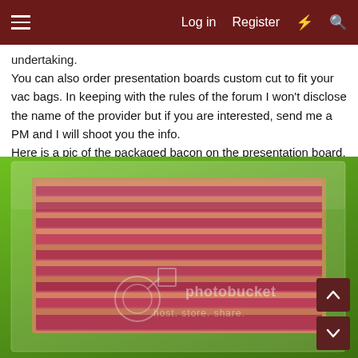Log in  Register
undertaking.
You can also order presentation boards custom cut to fit your vac bags. In keeping with the rules of the forum I won't disclose the name of the provider but if you are interested, send me a PM and I will shoot you the info.
Here is a pic of the packaged bacon on the presentation board.
[Figure (photo): Photo of vacuum-sealed packaged bacon slices laid flat on a green presentation board, with a Photobucket watermark overlay reading 'photobucket host. store. share.']